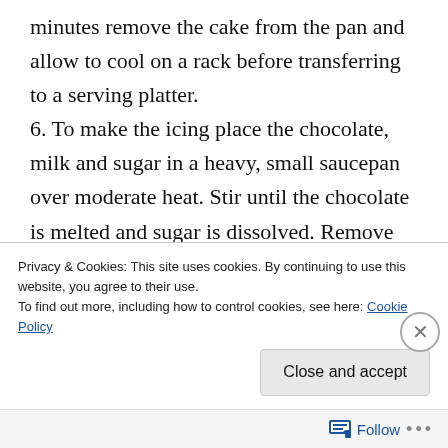minutes remove the cake from the pan and allow to cool on a rack before transferring to a serving platter. 6. To make the icing place the chocolate, milk and sugar in a heavy, small saucepan over moderate heat. Stir until the chocolate is melted and sugar is dissolved. Remove from heat and set aside. In a small bowl beat the yolks lightly and gradually beat in the chocolate mixture. 7. Beat the icing with an electric mixer on high for 10-15 minutes until the mixture is smooth, shiny and thick.
Privacy & Cookies: This site uses cookies. By continuing to use this website, you agree to their use.
To find out more, including how to control cookies, see here: Cookie Policy
Close and accept
Follow ...